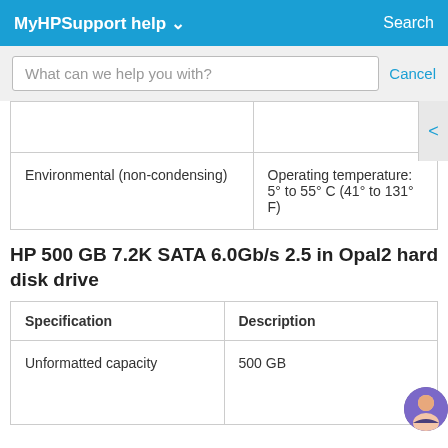MyHPSupport help ∨   Search
What can we help you with?   Cancel
|  |  |
| --- | --- |
| Environmental (non-condensing) | Operating temperature: 5° to 55° C (41° to 131° F) |
HP 500 GB 7.2K SATA 6.0Gb/s 2.5 in Opal2 hard disk drive
| Specification | Description |
| --- | --- |
| Unformatted capacity | 500 GB |